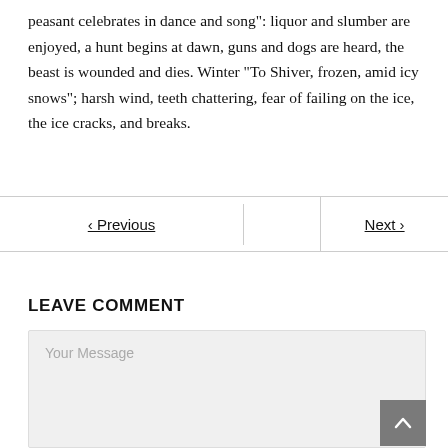peasant celebrates in dance and song": liquor and slumber are enjoyed, a hunt begins at dawn, guns and dogs are heard, the beast is wounded and dies. Winter “To Shiver, frozen, amid icy snows”; harsh wind, teeth chattering, fear of failing on the ice, the ice cracks, and breaks.
< Previous | Next >
LEAVE COMMENT
Your Message